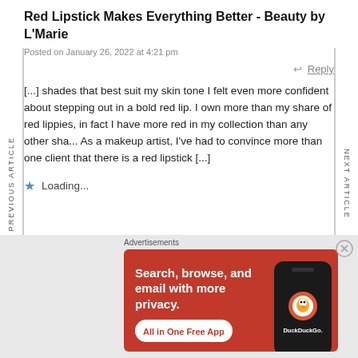Red Lipstick Makes Everything Better - Beauty by L'Marie
Posted on January 26, 2022 at 4:21 pm
↩ Reply
[...] shades that best suit my skin tone I felt even more confident about stepping out in a bold red lip. I own more than my share of red lippies, in fact I have more red in my collection than any other sha... As a makeup artist, I've had to convince more than one client that there is a red lipstick [...]
Loading...
PREVIOUS ARTICLE
NEXT ARTICLE
Advertisements
[Figure (other): DuckDuckGo advertisement banner with orange/red background showing text 'Search, browse, and email with more privacy. All in One Free App' with a phone graphic and DuckDuckGo logo]